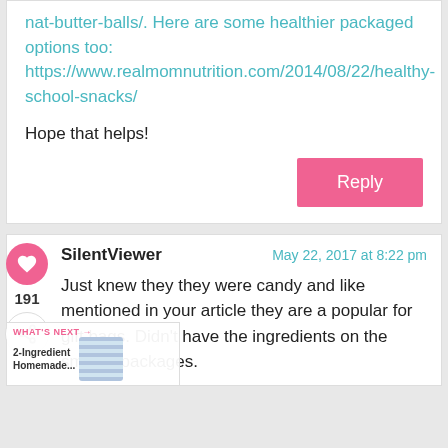healthier packaged options too: https://www.realmomnutrition.com/2014/08/22/healthy-school-snacks/
Hope that helps!
Reply
SilentViewer
May 22, 2017 at 8:22 pm
Just knew they they were candy and like mentioned in your article they are a popular for gift bags. Didn't have the ingredients on the smaller packages.